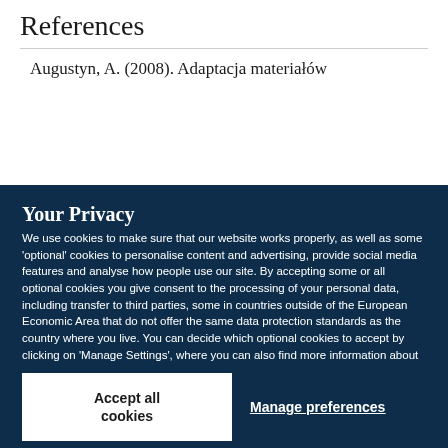References
Augustyn, A. (2008). Adaptacja materiałów
Your Privacy
We use cookies to make sure that our website works properly, as well as some 'optional' cookies to personalise content and advertising, provide social media features and analyse how people use our site. By accepting some or all optional cookies you give consent to the processing of your personal data, including transfer to third parties, some in countries outside of the European Economic Area that do not offer the same data protection standards as the country where you live. You can decide which optional cookies to accept by clicking on 'Manage Settings', where you can also find more information about how your personal data is processed. Further information can be found in our privacy policy.
Accept all cookies
Manage preferences